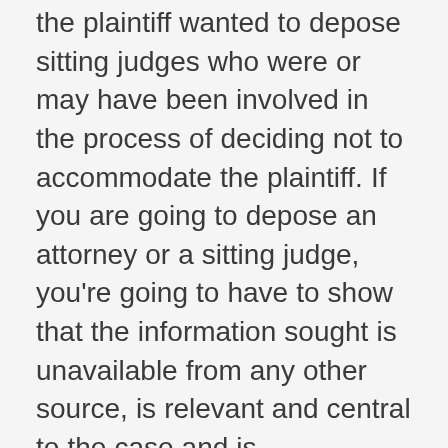the plaintiff wanted to depose sitting judges who were or may have been involved in the process of deciding not to accommodate the plaintiff. If you are going to depose an attorney or a sitting judge, you're going to have to show that the information sought is unavailable from any other source, is relevant and central to the case and is unprivileged. In this situation, the court found that a magistrate judge and two judges were the only sources of information on whether the Dearborn courts complied with title II of the ADA and § 504 of the Rehabilitation Act when they refused the accommodation because in Indiana, County level courts have complete autonomy with respect to making decisions about accommodations for spectators. Further, the evidence showed that the Dearborn County Court did not provide official